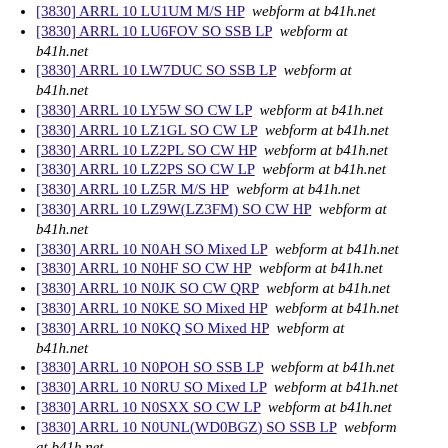[3830] ARRL 10 LU1UM M/S HP  webform at b41h.net
[3830] ARRL 10 LU6FOV SO SSB LP  webform at b41h.net
[3830] ARRL 10 LW7DUC SO SSB LP  webform at b41h.net
[3830] ARRL 10 LY5W SO CW LP  webform at b41h.net
[3830] ARRL 10 LZ1GL SO CW LP  webform at b41h.net
[3830] ARRL 10 LZ2PL SO CW HP  webform at b41h.net
[3830] ARRL 10 LZ2PS SO CW LP  webform at b41h.net
[3830] ARRL 10 LZ5R M/S HP  webform at b41h.net
[3830] ARRL 10 LZ9W(LZ3FM) SO CW HP  webform at b41h.net
[3830] ARRL 10 N0AH SO Mixed LP  webform at b41h.net
[3830] ARRL 10 N0HF SO CW HP  webform at b41h.net
[3830] ARRL 10 N0JK SO CW QRP  webform at b41h.net
[3830] ARRL 10 N0KE SO Mixed HP  webform at b41h.net
[3830] ARRL 10 N0KQ SO Mixed HP  webform at b41h.net
[3830] ARRL 10 N0POH SO SSB LP  webform at b41h.net
[3830] ARRL 10 N0RU SO Mixed LP  webform at b41h.net
[3830] ARRL 10 N0SXX SO CW LP  webform at b41h.net
[3830] ARRL 10 N0UNL(WD0BGZ) SO SSB LP  webform at b41h.net
[3830] ARRL 10 N1ATO SO SSB HP  webform at b41h.net
[3830] ARRL 10 N1IBM SO Mixed HP  webform at b41h.net